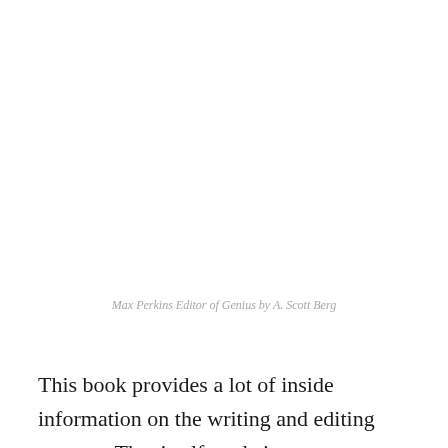Max Perkins Editor of Genius by A. Scott Berg
This book provides a lot of inside information on the writing and editing process. That itself made it